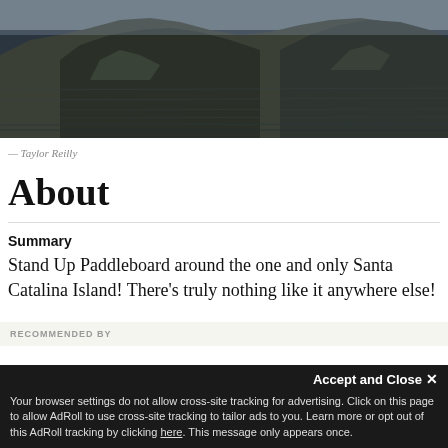[Figure (photo): Aerial or coastal view of Santa Catalina Island showing dark water in the foreground and rocky, forested cliffs/mountains in the background under overcast skies]
— Taylor Reilly
About
Summary
Stand Up Paddleboard around the one and only Santa Catalina Island! There's truly nothing like it anywhere else!
RECOMMENDED BY
Accept and Close ✕
Your browser settings do not allow cross-site tracking for advertising. Click on this page to allow AdRoll to use cross-site tracking to tailor ads to you. Learn more or opt out of this AdRoll tracking by clicking here. This message only appears once.